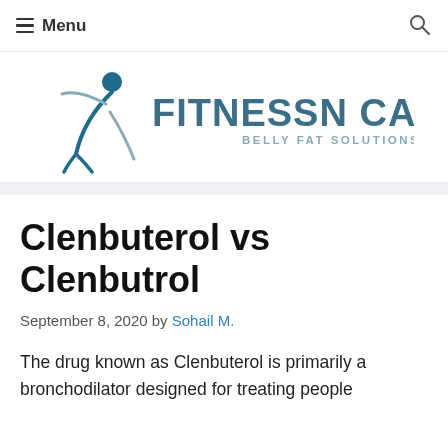≡ Menu  🔍
[Figure (logo): FitnessNCare Belly Fat Solutions logo with stylized human figure in teal/dark blue]
Clenbuterol vs Clenbutrol
September 8, 2020 by Sohail M.
The drug known as Clenbuterol is primarily a bronchodilator designed for treating people